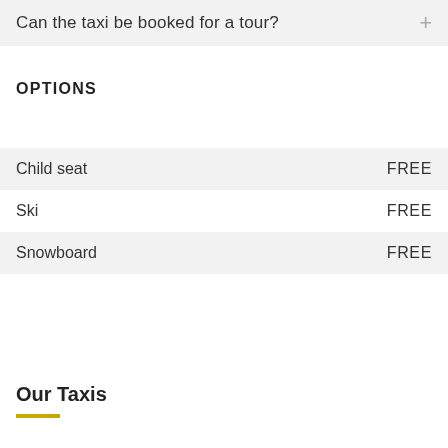Can the taxi be booked for a tour?
OPTIONS
| Option | Price |
| --- | --- |
| Child seat | FREE |
| Ski | FREE |
| Snowboard | FREE |
Our Taxis